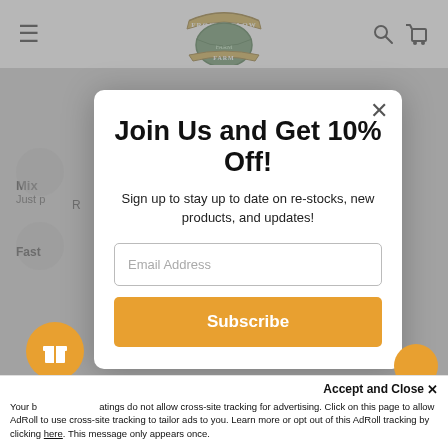[Figure (screenshot): Frog Hollow Farm website header with logo, hamburger menu, search and cart icons on white nav bar, dimmed by modal overlay]
Join Us and Get 10% Off!
Sign up to stay up to date on re-stocks, new products, and updates!
Email Address
Subscribe
Accept and Close ✕
Your browser settings do not allow cross-site tracking for advertising. Click on this page to allow AdRoll to use cross-site tracking to tailor ads to you. Learn more or opt out of this AdRoll tracking by clicking here. This message only appears once.